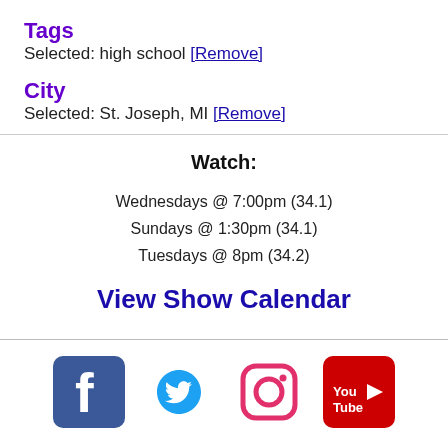Tags
Selected: high school [Remove]
City
Selected: St. Joseph, MI [Remove]
Watch:
Wednesdays @ 7:00pm (34.1)
Sundays @ 1:30pm (34.1)
Tuesdays @ 8pm (34.2)
View Show Calendar
[Figure (logo): Social media icons: Facebook, Twitter, Instagram, YouTube]